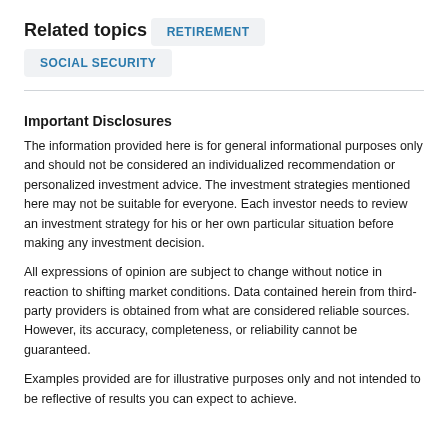Related topics
RETIREMENT
SOCIAL SECURITY
Important Disclosures
The information provided here is for general informational purposes only and should not be considered an individualized recommendation or personalized investment advice. The investment strategies mentioned here may not be suitable for everyone. Each investor needs to review an investment strategy for his or her own particular situation before making any investment decision.
All expressions of opinion are subject to change without notice in reaction to shifting market conditions. Data contained herein from third-party providers is obtained from what are considered reliable sources. However, its accuracy, completeness, or reliability cannot be guaranteed.
Examples provided are for illustrative purposes only and not intended to be reflective of results you can expect to achieve.